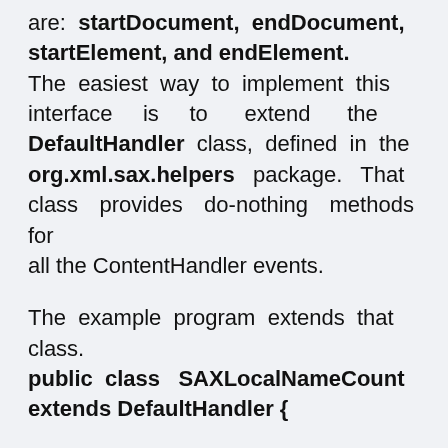are: startDocument, endDocument, startElement, and endElement. The easiest way to implement this interface is to extend the DefaultHandler class, defined in the org.xml.sax.helpers package. That class provides do-nothing methods for all the ContentHandler events.
The example program extends that class.
public class SAXLocalNameCount extends DefaultHandler {